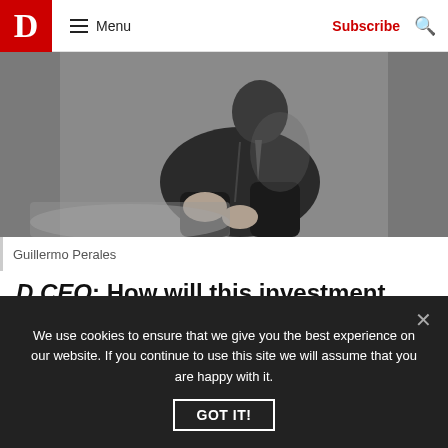D  Menu  Subscribe
[Figure (photo): Black and white photo of a man in a suit sitting casually, photographed by Guillermo Perales]
Guillermo Perales
D CEO: How will this investment help elevate Sun Holdings' portfolio?
We use cookies to ensure that we give you the best experience on our website. If you continue to use this site we will assume that you are happy with it.
GOT IT!